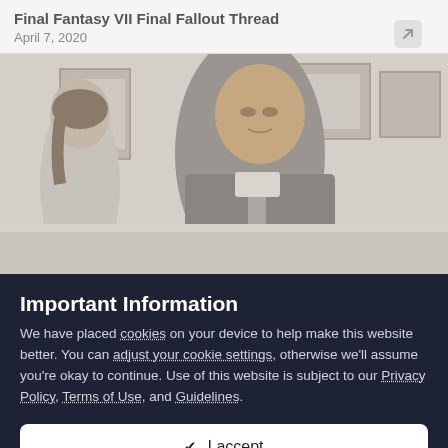Final Fantasy VII Final Fallout Thread
April 7, 2020
[Figure (photo): Desaturated/faded photograph of a man in a jacket and tie standing in a room with framed pictures on walls; another person partially visible in background]
Important Information
We have placed cookies on your device to help make this website better. You can adjust your cookie settings, otherwise we'll assume you're okay to continue. Use of this website is subject to our Privacy Policy, Terms of Use, and Guidelines.
✔ I accept